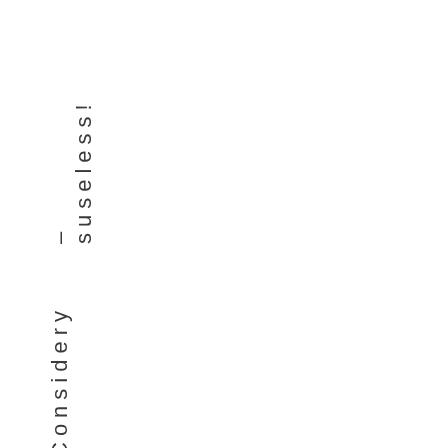s
u
s
e
l
e
s
s
!
–
C
o
n
s
i
d
e
r
y